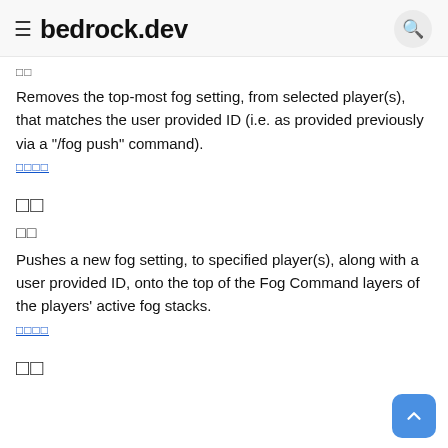≡ bedrock.dev
uu
Removes the top-most fog setting, from selected player(s), that matches the user provided ID (i.e. as provided previously via a "/fog push" command).
□□□□
□□
□□
Pushes a new fog setting, to specified player(s), along with a user provided ID, onto the top of the Fog Command layers of the players' active fog stacks.
□□□□
□□